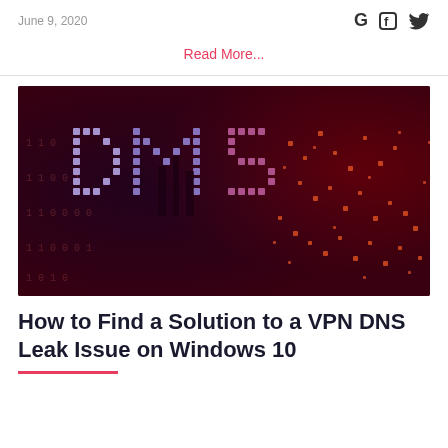June 9, 2020
Read More...
[Figure (photo): DNS text rendered in glowing pixel/binary style on dark red-blue background, showing the letters DNS dissolving into scattered dots of orange-red pixels, with binary code columns visible in the background.]
How to Find a Solution to a VPN DNS Leak Issue on Windows 10